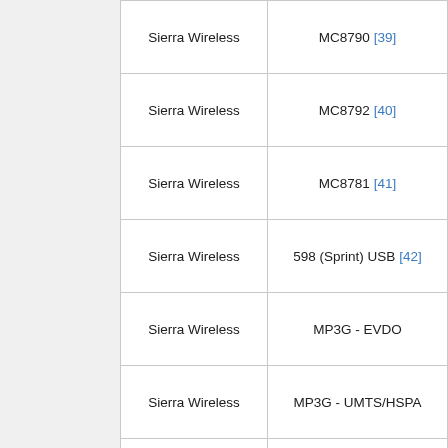| Manufacturer | Model |
| --- | --- |
| Sierra Wireless | MC8790 [39] |
| Sierra Wireless | MC8792 [40] |
| Sierra Wireless | MC8781 [41] |
| Sierra Wireless | 598 (Sprint) USB [42] |
| Sierra Wireless | MP3G - EVDO |
| Sierra Wireless | MP3G - UMTS/HSPA |
| Sierra Wireless | Compass 885 (USB) [43] |
| Silicon Labs | MobiData GPRS USB Modem |
| Sprint | U301/301U 4G wireless card |